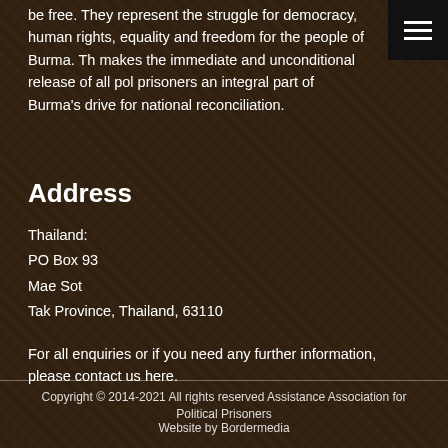be free. They represent the struggle for democracy, human rights, equality and freedom for the people of Burma. Th makes the immediate and unconditional release of all pol prisoners an integral part of Burma's drive for national reconciliation.
Address
Thailand:
PO Box 93
Mae Sot
Tak Province, Thailand, 63110
For all enquiries or if you need any further information, please contact us here.
Copyright © 2014-2021 All rights reserved Assistance Association for Political Prisoners
Website by Bordermedia